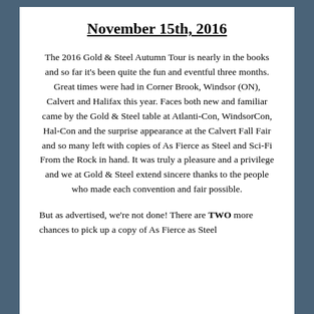November 15th, 2016
The 2016 Gold & Steel Autumn Tour is nearly in the books and so far it's been quite the fun and eventful three months. Great times were had in Corner Brook, Windsor (ON), Calvert and Halifax this year. Faces both new and familiar came by the Gold & Steel table at Atlanti-Con, WindsorCon, Hal-Con and the surprise appearance at the Calvert Fall Fair and so many left with copies of As Fierce as Steel and Sci-Fi From the Rock in hand. It was truly a pleasure and a privilege and we at Gold & Steel extend sincere thanks to the people who made each convention and fair possible.
But as advertised, we're not done! There are TWO more chances to pick up a copy of As Fierce as Steel